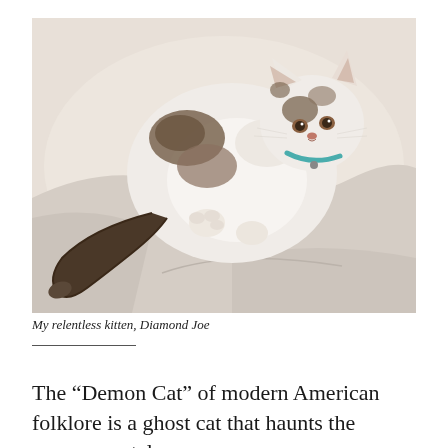[Figure (photo): A fluffy white and brown kitten lying on its back on white bedding, wearing a teal collar, looking up at the camera with its tail curled to the side.]
My relentless kitten, Diamond Joe
The “Demon Cat” of modern American folklore is a ghost cat that haunts the governmental